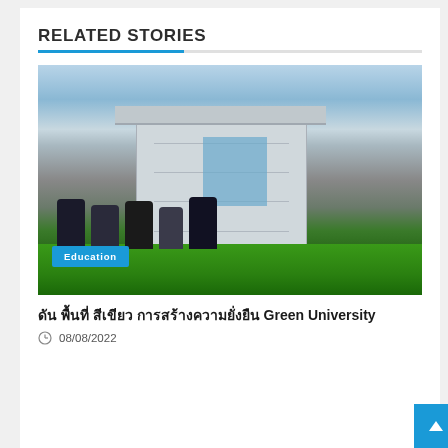RELATED STORIES
[Figure (photo): Students sitting on grass in front of a university building, with Education badge overlay]
□□□ □□□□□ □□□□□ □□□□□□□□□□□□□□□□ Green University
08/08/2022